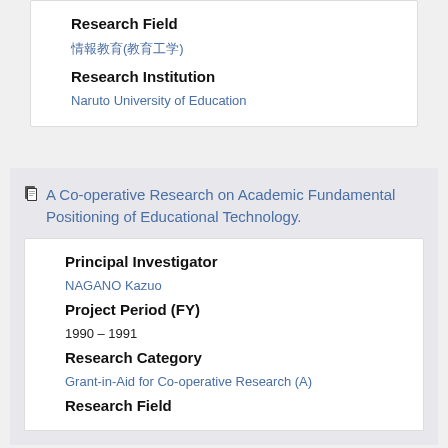Research Field
情報教育(教育工学)
Research Institution
Naruto University of Education
A Co-operative Research on Academic Fundamental Positioning of Educational Technology.
Principal Investigator
NAGANO Kazuo
Project Period (FY)
1990 – 1991
Research Category
Grant-in-Aid for Co-operative Research (A)
Research Field